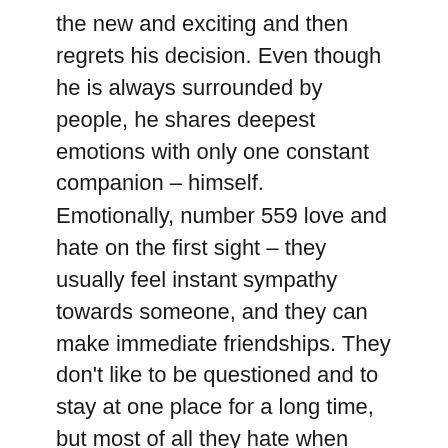the new and exciting and then regrets his decision. Even though he is always surrounded by people, he shares deepest emotions with only one constant companion – himself.
Emotionally, number 559 love and hate on the first sight – they usually feel instant sympathy towards someone, and they can make immediate friendships. They don't like to be questioned and to stay at one place for a long time, but most of all they hate when people provoke their intelligence. They are very resourceful, with the most exceptional ease they get